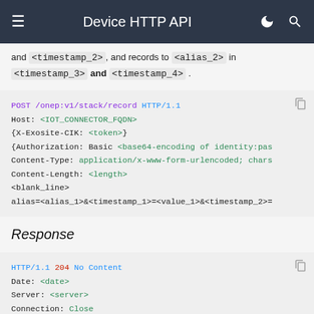Device HTTP API
and <timestamp_2>, and records to <alias_2> in <timestamp_3> and <timestamp_4>.
POST /onep:v1/stack/record HTTP/1.1
Host: <IOT_CONNECTOR_FQDN>
{X-Exosite-CIK: <token>}
{Authorization: Basic <base64-encoding of identity:pas
Content-Type: application/x-www-form-urlencoded; chars
Content-Length: <length>
<blank_line>
alias=<alias_1>&<timestamp_1>=<value_1>&<timestamp_2>=
Response
HTTP/1.1 204 No Content
Date: <date>
Server: <server>
Connection: Close
Content-Length: 0
<blank_line>